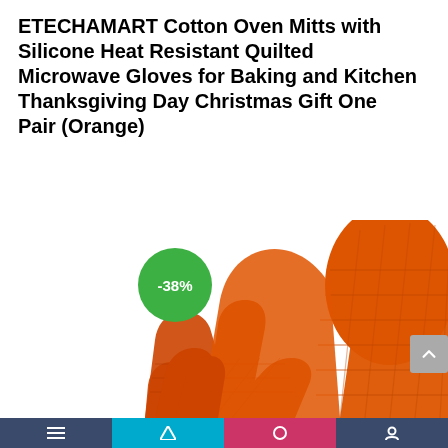ETECHAMART Cotton Oven Mitts with Silicone Heat Resistant Quilted Microwave Gloves for Baking and Kitchen Thanksgiving Day Christmas Gift One Pair (Orange)
[Figure (photo): Photo of a pair of orange quilted silicone oven mitts with diamond pattern texture, shown from above. A green circular badge showing -38% discount is overlaid on the upper left of the image.]